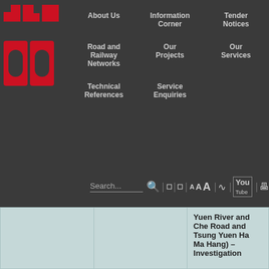Navigation bar with logo and menu items: About Us, Information Corner, Tender Notices, Road and Railway Networks, Our Projects, Our Services, Technical References, Service Enquiries, Search bar with font size controls
| Date | Closing Time | Description |
| --- | --- | --- |
|  |  | Yuen River and Che Road and Tsung Yuen Ha Ma Hang) – Investigation |
| 10 February 2012 | 12:00 noon on 2 March 2012 | Agreement No 2/2012 (HY) Escalator Link Pedestrian Wa System at Pou and Lift Syste Pedestrian Wa |